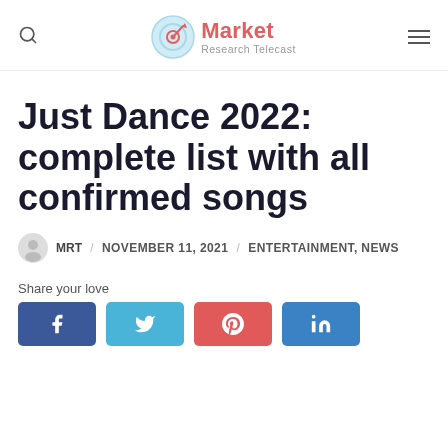Market Research Telecast
Just Dance 2022: complete list with all confirmed songs
MRT / NOVEMBER 11, 2021 / ENTERTAINMENT, NEWS
Share your love
[Figure (infographic): Social share buttons: Facebook, Twitter, Pinterest, LinkedIn]